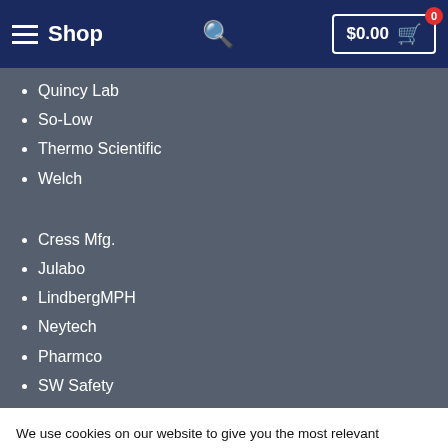Shop  $0.00  0
Quincy Lab
So-Low
Thermo Scientific
Welch
Cress Mfg.
Julabo
LindbergMPH
Neytech
Pharmco
SW Safety
We use cookies on our website to give you the most relevant experience by remembering your preferences and repeat visits. By clicking “Accept”, you consent to the use of ALL the cookies.
Do not sell my personal information.